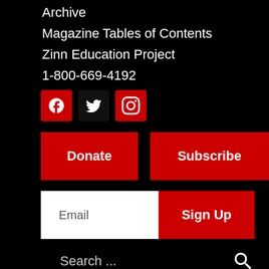Archive
Magazine Tables of Contents
Zinn Education Project
1-800-669-4192
[Figure (infographic): Social media icons: Facebook, Twitter, Instagram — red square backgrounds with white icons]
[Figure (infographic): Two red buttons: Donate and Subscribe]
[Figure (infographic): Email input field with white background and red Sign Up button]
[Figure (infographic): Search bar with placeholder text 'Search ...' and magnifying glass icon, underlined]